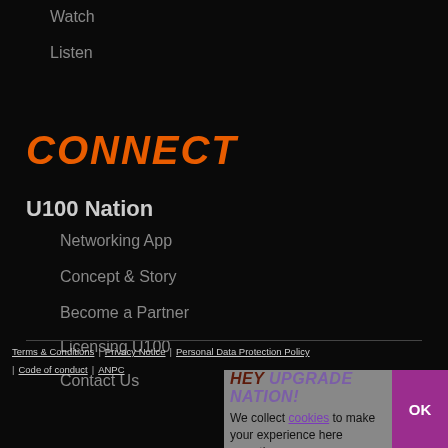Watch
Listen
CONNECT
U100 Nation
Networking App
Concept & Story
Become a Partner
Licensing U100
Contact Us
Terms & Conditions | Privacy Notice | Personal Data Protection Policy | Code of conduct | ANPC
HEY UPGRADE NATION! We collect cookies to make your experience here smoother.